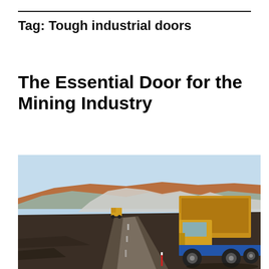Tag: Tough industrial doors
The Essential Door for the Mining Industry
[Figure (photo): Open-pit mining site with a large yellow haul truck driving on a dirt road, with mounds of earth and excavated terrain in the background under a clear sky.]